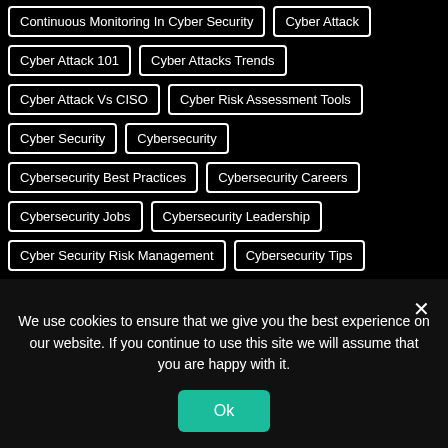Continuous Monitoring In Cyber Security
Cyber Attack
Cyber Attack 101
Cyber Attacks Trends
Cyber Attack Vs CISO
Cyber Risk Assessment Tools
Cyber Security
Cybersecurity
Cybersecurity Best Practices
Cybersecurity Careers
Cybersecurity Jobs
Cybersecurity Leadership
Cyber Security Risk Management
Cybersecurity Tips
Cybersecurity Training
Data Breach
Data Security
We use cookies to ensure that we give you the best experience on our website. If you continue to use this site we will assume that you are happy with it.